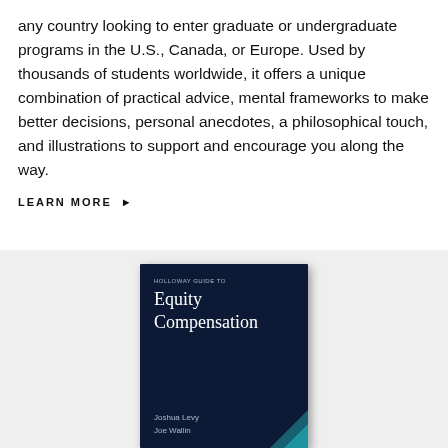any country looking to enter graduate or undergraduate programs in the U.S., Canada, or Europe. Used by thousands of students worldwide, it offers a unique combination of practical advice, mental frameworks to make better decisions, personal anecdotes, a philosophical touch, and illustrations to support and encourage you along the way.
LEARN MORE ►
[Figure (photo): Book cover of 'Holloway Guide to Equity Compensation' by Joshua Levy and Joe Wallin, dark navy background with teal accent in bottom right corner]